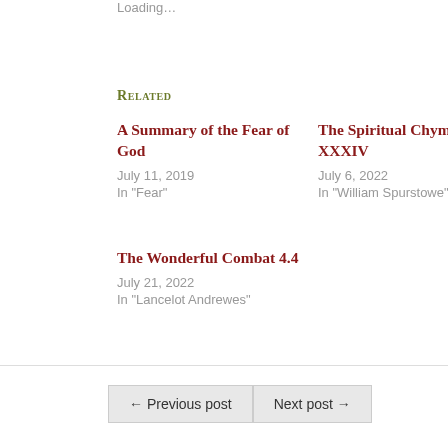Loading…
Related
A Summary of the Fear of God
July 11, 2019
In "Fear"
The Spiritual Chymist XXXIV
July 6, 2022
In "William Spurstowe"
The Wonderful Combat 4.4
July 21, 2022
In "Lancelot Andrewes"
← Previous post
Next post →